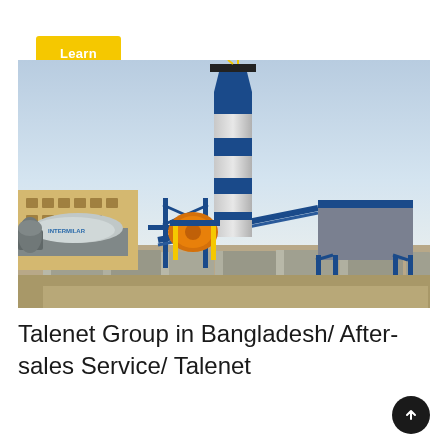Learn More
[Figure (photo): Industrial concrete batching plant with tall blue and white cylindrical silo, orange mixer drum, blue steel framework structure, conveyor belt, aggregate bins, concrete wall barriers in foreground, and industrial building in background. A cement truck labeled 'INTERMILAR' is visible on the left side.]
Talenet Group in Bangladesh/ After-sales Service/ Talenet